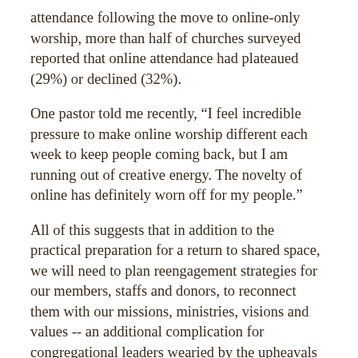attendance following the move to online-only worship, more than half of churches surveyed reported that online attendance had plateaued (29%) or declined (32%).
One pastor told me recently, “I feel incredible pressure to make online worship different each week to keep people coming back, but I am running out of creative energy. The novelty of online has definitely worn off for my people.”
All of this suggests that in addition to the practical preparation for a return to shared space, we will need to plan reengagement strategies for our members, staffs and donors, to reconnect them with our missions, ministries, visions and values -- an additional complication for congregational leaders wearied by the upheavals of church life in the last few months, along with weeks upon weeks of ministry by Zoom.